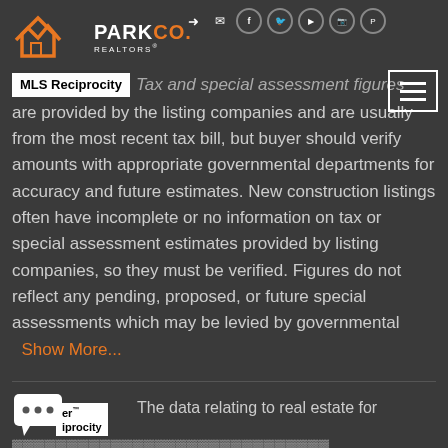[Figure (logo): Park Co. Realtors logo with orange house icon and social media icons in header]
Tax and special assessment figures are provided by the listing companies and are usually from the most recent tax bill, but buyer should verify amounts with appropriate governmental departments for accuracy and future estimates. New construction listings often have incomplete or no information on tax or special assessment estimates provided by listing companies, so they must be verified. Figures do not reflect any pending, proposed, or future special assessments which may be levied by governmental   Show More...
The data relating to real estate for